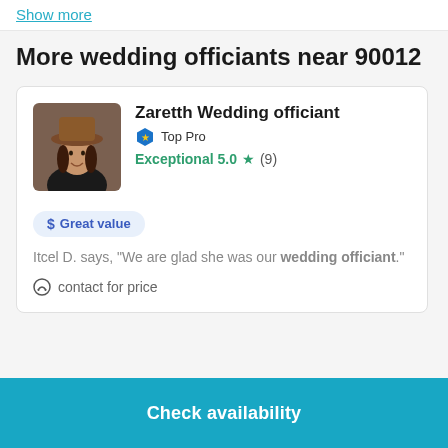Show more
More wedding officiants near 90012
[Figure (photo): Profile photo of Zaretth, a woman wearing a brown hat, oval/square shaped avatar]
Zaretth Wedding officiant
Top Pro
Exceptional 5.0 ★ (9)
$ Great value
Itcel D. says, "We are glad she was our wedding officiant."
contact for price
Check availability